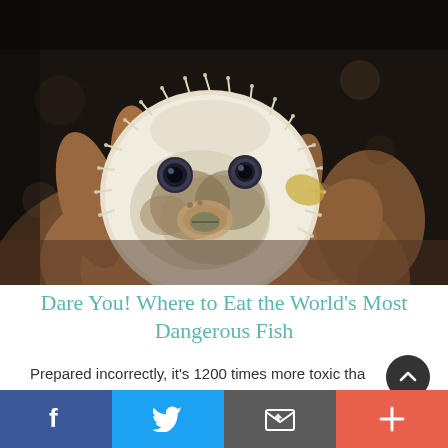[Figure (photo): Close-up photo of a pufferfish (blowfish) being held in a person's hand. The fish is inflated and covered in white spines, with distinctive eyes. The background is dark.]
Dare You! Where to Eat the World's Most Dangerous Fish
Prepared incorrectly, it's 1200 times more toxic tha...